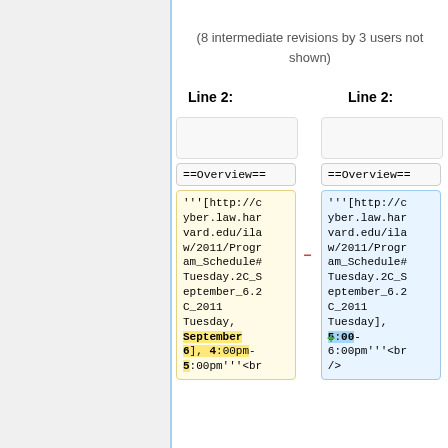(8 intermediate revisions by 3 users not shown)
Line 2:
Line 2:
'''[http://cyber.law.harvard.edu/ilaw/2011/Program_Schedule#Tuesday.2C_September_6.2C_2011 Tuesday, September 6], 4:00pm-5:00pm'''<br
'''[http://cyber.law.harvard.edu/ilaw/2011/Program_Schedule#Tuesday.2C_September_6.2C_2011 Tuesday], 5:00-6:00pm'''<br />